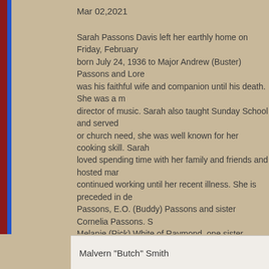Mar 02,2021
Sarah Passons Davis left her earthly home on Friday, February born July 24, 1936 to Major Andrew (Buster) Passons and Lore was his faithful wife and companion until his death. She was a r director of music. Sarah also taught Sunday School and served or church need, she was well known for her cooking skill. Sarah loved spending time with her family and friends and hosted mar continued working until her recent illness. She is preceded in de Passons, E.O. (Buddy) Passons and sister Cornelia Passons. S Melanie (Rick) White of Raymond, one sister, Carolyn (Bill) Cot (Coatney) Tucker of Bentonia, Jennifer (Ryan) Kelly of Hattiesb Davis (Jordan) Parker, Sarah Grace Parker, Riley Tucker, Eliza one great-great grandson, Jett Parker. She also leaves behind r memorials be made to Ogden Baptist Church in Bentonia or So March 1 from 5-7 p.m. at Stricklin-King Funeral Home in Yazoo with burial following in Flora Cemetery.
Malvern "Butch" Smith